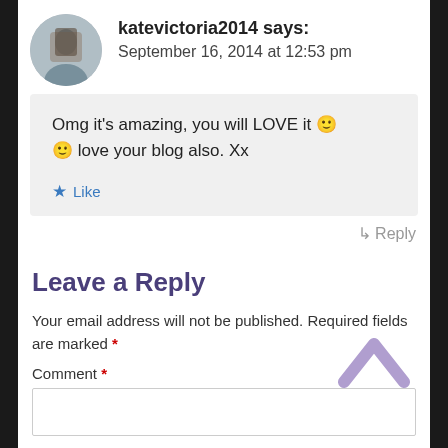katevictoria2014 says: September 16, 2014 at 12:53 pm
Omg it's amazing, you will LOVE it 🙂 🙂 love your blog also. Xx
Like
↳ Reply
Leave a Reply
Your email address will not be published. Required fields are marked *
Comment *